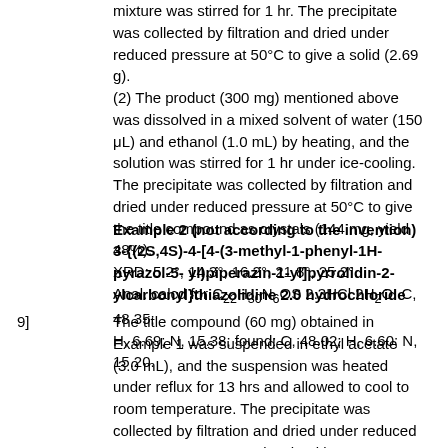mixture was stirred for 1 hr. The precipitate was collected by filtration and dried under reduced pressure at 50°C to give a solid (2.69 g). (2) The product (300 mg) mentioned above was dissolved in a mixed solvent of water (150 μL) and ethanol (1.0 mL) by heating, and the solution was stirred for 1 hr under ice-cooling. The precipitate was collected by filtration and dried under reduced pressure at 50°C to give the title compound as crystals (144 mg, yield 48%). XRD: 5.2°, 14.3°, 16.2°, 21.8°, 25.2°. Anal. calcd for C22H30N6OS 2.3HCl 2H2O: C, 48.35; H, 6.69; N, 15.38; found: C, 48.02; H, 6.60; N, 15.20.
Example 2 (not according to the invention)
3-{(2S,4S)-4-[4-(3-methyl-1-phenyl-1H-pyrazol-5-yl)piperazin-1-yl]pyrrolidin-2-ylcarbonyl}thiazolidine 2.0 hydrochloride
The title compound (60 mg) obtained in Example 1 was suspended in ethyl acetate (3.0 mL), and the suspension was heated under reflux for 13 hrs and allowed to cool to room temperature. The precipitate was collected by filtration and dried under reduced pressure at 100°C to give the title compound...